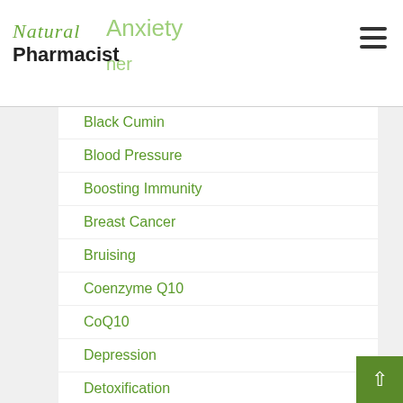Natural Pharmacist
Anxiety
ner
Black Cumin
Blood Pressure
Boosting Immunity
Breast Cancer
Bruising
Coenzyme Q10
CoQ10
Depression
Detoxification
DMSO
Far infrared sauna
FMU
Glutathione
Hypertension